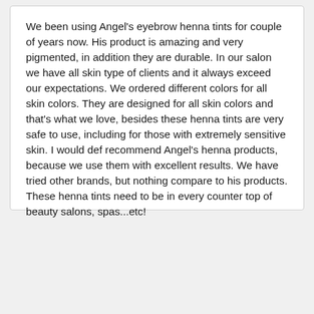We been using Angel's eyebrow henna tints for couple of years now. His product is amazing and very pigmented, in addition they are durable. In our salon we have all skin type of clients and it always exceed our expectations. We ordered different colors for all skin colors. They are designed for all skin colors and that's what we love, besides these henna tints are very safe to use, including for those with extremely sensitive skin. I would def recommend Angel's henna products, because we use them with excellent results. We have tried other brands, but nothing compare to his products. These henna tints need to be in every counter top of beauty salons, spas...etc!